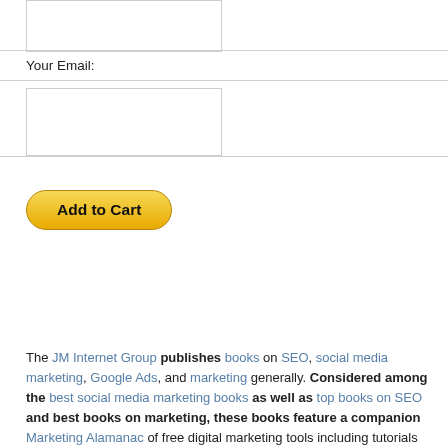[Figure (screenshot): Input box (text field) for user entry, top of form]
Your Email:
[Figure (screenshot): Input box (text field) for email entry]
[Figure (screenshot): Add to Cart button, yellow rounded pill shape]
The JM Internet Group publishes books on SEO, social media marketing, Google Ads, and marketing generally. Considered among the best social media marketing books as well as top books on SEO and best books on marketing, these books feature a companion Marketing Alamanac of free digital marketing tools including tutorials